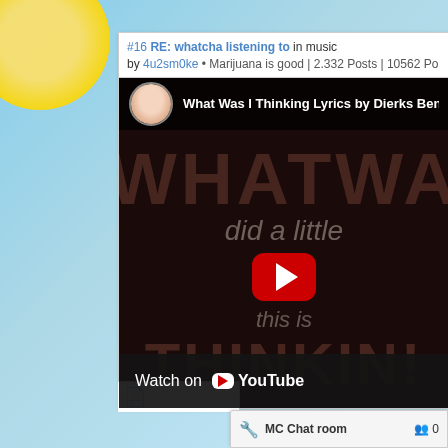[Figure (screenshot): Forum post screenshot showing a YouTube video embed. Post #16 titled 'RE: whatcha listening to in music' by user 4u2sm0ke with subtitle 'Marijuana is good | 2,332 Posts | 10562 Po...'. The embedded YouTube video shows 'What Was I Thinking Lyrics by Dierks Ben...' with a dark background showing large text 'WHATWA', 'did a little', play button, 'this is', 'THINKIN!' and a Watch on YouTube bar at the bottom. A MC Chat room panel with 0 users is visible in the bottom right.]